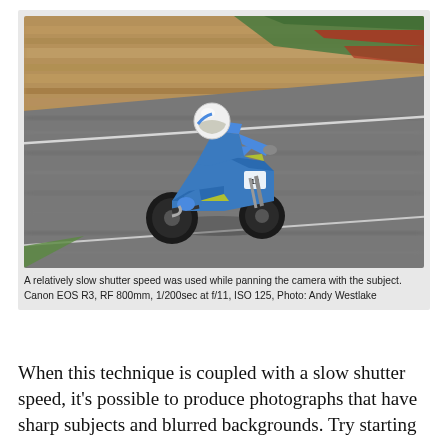[Figure (photo): A motorcycle racer on a blue sport bike leaning into a turn on a racing circuit. The background and track surface are motion-blurred due to panning technique. The rider wears a white helmet and blue racing suit. The track has green and red curbing visible in the upper right.]
A relatively slow shutter speed was used while panning the camera with the subject. Canon EOS R3, RF 800mm, 1/200sec at f/11, ISO 125, Photo: Andy Westlake
When this technique is coupled with a slow shutter speed, it's possible to produce photographs that have sharp subjects and blurred backgrounds. Try starting